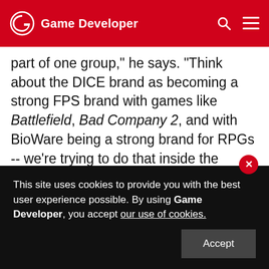Game Developer
part of one group, he says. Think about the DICE brand as becoming a strong FPS brand with games like Battlefield, Bad Company 2, and with BioWare being a strong brand for RPGs -- we're trying to do that inside the action space, where EA has not had a strong position for some time." And he sees benefits he hopes will match the challenges, such as the ability to reach talent in other locations. "You can build [a studio's] core competency around a specific skillset," he notes. "The Melbourne staff are experts at doing PC versions of our projects, as well as doing
This site uses cookies to provide you with the best user experience possible. By using Game Developer, you accept our use of cookies.